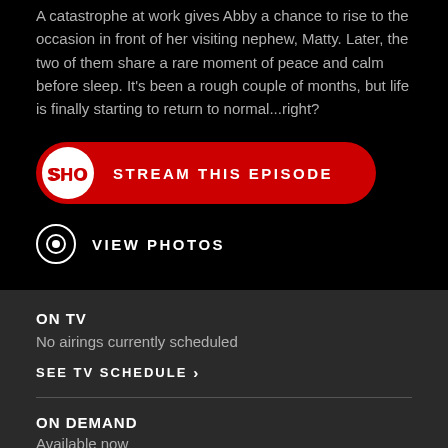A catastrophe at work gives Abby a chance to rise to the occasion in front of her visiting nephew, Matty. Later, the two of them share a rare moment of peace and calm before sleep. It's been a rough couple of months, but life is finally starting to return to normal...right?
[Figure (logo): Showtime SHO logo button - red rounded rectangle with SHO logo icon on left and STREAM THIS EPISODE text]
[Figure (other): View Photos button with camera icon]
ON TV
No airings currently scheduled
SEE TV SCHEDULE >
ON DEMAND
Available now